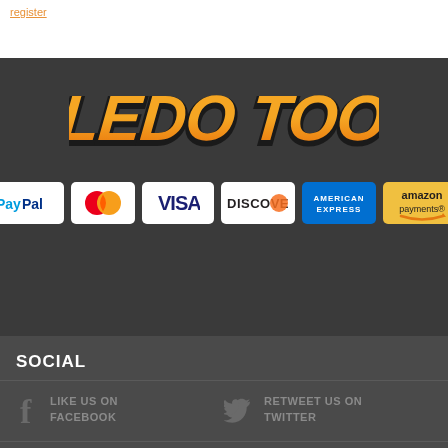register
[Figure (logo): Toledo Tools logo in orange and yellow italic bold lettering on dark background]
[Figure (infographic): Payment method badges: PayPal, MasterCard, Visa, Discover, American Express, Amazon Payments]
SOCIAL
LIKE US ON FACEBOOK
RETWEET US ON TWITTER
FOLLOW ON (partially visible)
FOLLOW US ON (partially visible)